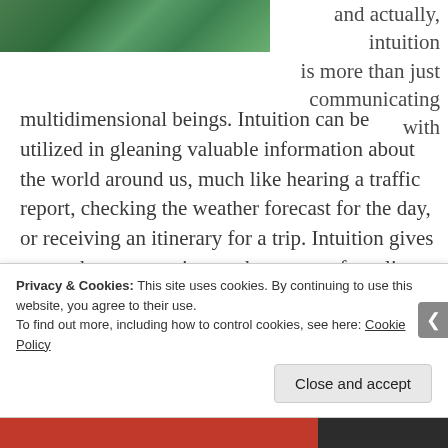[Figure (photo): Green nature/forest photo in top left corner]
and actually, intuition is more than just communicating with multidimensional beings. Intuition can be utilized in gleaning valuable information about the world around us, much like hearing a traffic report, checking the weather forecast for the day, or receiving an itinerary for a trip. Intuition gives us another perspective on the events of our lives, gifting us with a greater sense of efficacy, fluidity, and conscious involvement with our experiences. Ancient cultures often not only believed in intuition, but utilized it fully, having men and women in the community who
Privacy & Cookies: This site uses cookies. By continuing to use this website, you agree to their use.
To find out more, including how to control cookies, see here: Cookie Policy